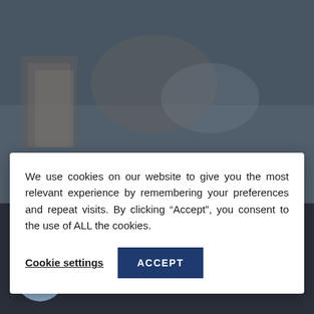[Figure (photo): Background photo showing people studying at a table with books, hands visible, dim overlay]
We use cookies on our website to give you the most relevant experience by remembering your preferences and repeat visits. By clicking “Accept”, you consent to the use of ALL the cookies.
Cookie settings
ACCEPT
©2022 Tungsten Training Centre Ltd. All Rights Reserved | Privacy Policy | Booking Terms & Conditions | Complaints Policy
Registration Number: 10002824 | VAT Registered: GB239060318